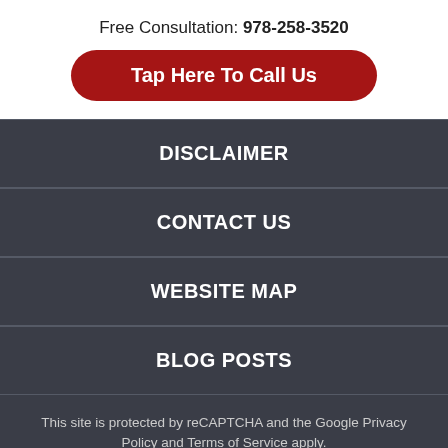Free Consultation: 978-258-3520
Tap Here To Call Us
DISCLAIMER
CONTACT US
WEBSITE MAP
BLOG POSTS
This site is protected by reCAPTCHA and the Google Privacy Policy and Terms of Service apply.
Please do not include any confidential or sensitive information in a